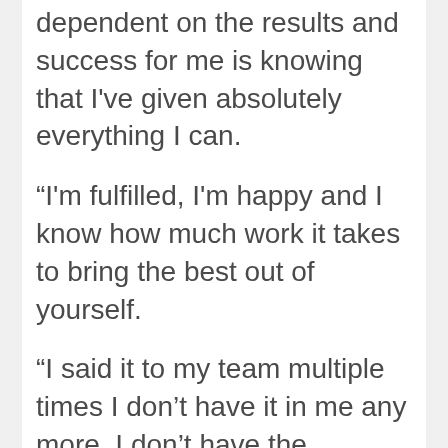dependent on the results and success for me is knowing that I've given absolutely everything I can.
“I'm fulfilled, I'm happy and I know how much work it takes to bring the best out of yourself.
“I said it to my team multiple times I don’t have it in me any more. I don’t have the physical drive, the emotional want and everything it takes to challenge yourself at the top level any more, and I know that I’m spent.
“I know people may not understand that … but Ash Barty the person has so many dreams she wants to chase after that don’t necessarily involve travelling the world, being